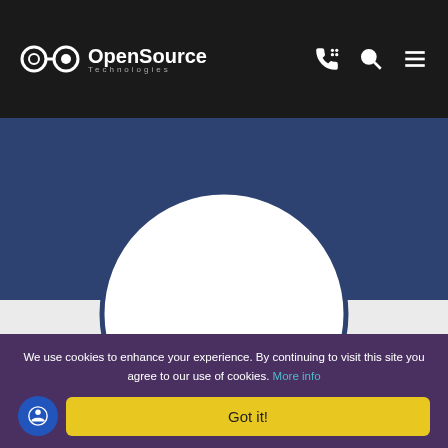[Figure (logo): OpenSource Technologies logo with white infinity-like icon and white text on dark header bar, with phone, search, and menu icons on the right]
[Figure (illustration): Dark blue banner section with a large white circle partially overlapping into a light gray section below, and a red diagonal shape in the lower right]
We use cookies to enhance your experience. By continuing to visit this site you agree to our use of cookies. More info
Got it!